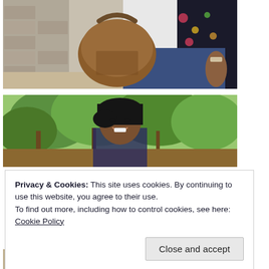[Figure (photo): Woman holding a large tan/brown leather handbag, wearing a floral blazer and white top with jeans, standing near a stone wall outdoors]
[Figure (photo): Young woman with dark hair smiling outdoors among green trees and foliage]
Privacy & Cookies: This site uses cookies. By continuing to use this website, you agree to their use.
To find out more, including how to control cookies, see here: Cookie Policy
[Figure (photo): Partial view of bottom photo strip showing person in colorful floral outfit outdoors]